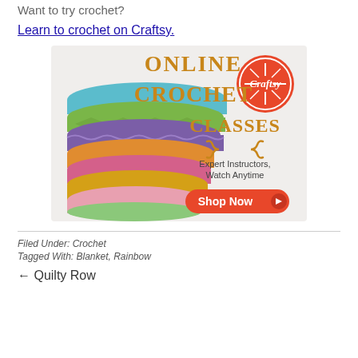Want to try crochet?
Learn to crochet on Craftsy.
[Figure (illustration): Craftsy Online Crochet Classes advertisement banner. Shows stacked colorful crocheted blankets on the left side. Text reads 'ONLINE CROCHET CLASSES' in golden/orange letters. Craftsy logo (orange circle with white text) in top right. Text 'Expert Instructors, Watch Anytime' with an orange 'Shop Now' button with a play arrow.]
Filed Under: Crochet
Tagged With: Blanket, Rainbow
Quilty Row